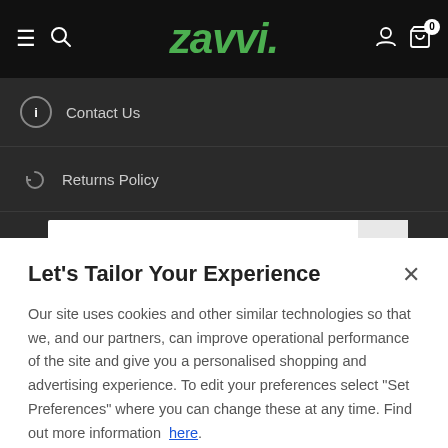ZAVVI
Contact Us
Returns Policy
WELCOME
Let's Tailor Your Experience
Our site uses cookies and other similar technologies so that we, and our partners, can improve operational performance of the site and give you a personalised shopping and advertising experience. To edit your preferences select "Set Preferences" where you can change these at any time. Find out more information here.